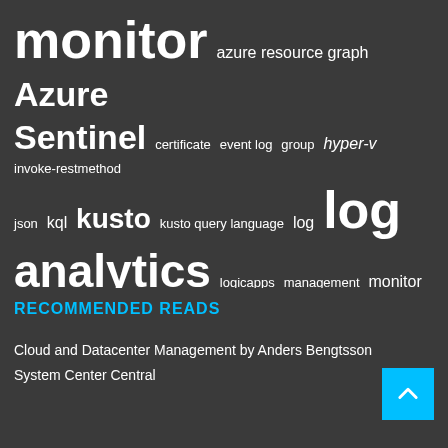[Figure (infographic): Tag cloud with various technology-related terms in white on dark gray background. Terms include: monitor, azure resource graph, Azure Sentinel, certificate, event log, group, hyper-v, invoke-restmethod, json, kql, kusto, kusto query language, log, log analytics, logicapps, management, monitor, monitoring, msoms, operations, operations manager, opsmgr, orchestrator, powershell, query, scom, scorch, serverless, serverless for ops, service, service manager, ssl, suite, system center, windows, virtual desktop, workbook, workbooks, wvd]
RECOMMENDED READS
Cloud and Datacenter Management by Anders Bengtsson
System Center Central